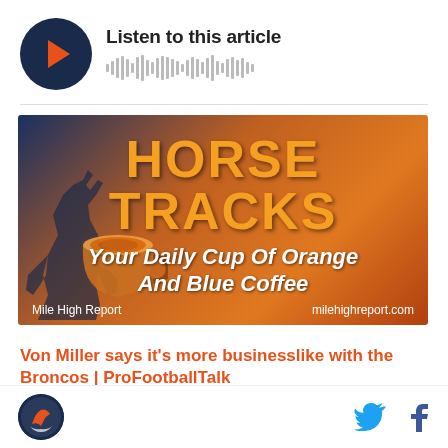[Figure (other): Audio player widget with dark navy circle play button (orange triangle icon) and waveform bars, with text 'Listen to this article']
[Figure (illustration): Horse Tracks banner image with horse silhouette, coffee cup, orange/blue gradient background. Text: 'HORSE TRACKS', 'Your Daily Cup Of Orange And Blue Coffee', 'Mile High Report', 'milehighreport.com']
Von Miller says it’s more businesslike with the Broncos | ProFootballTalk
Thursday’s episode of Pro Football Talk featured a visit
[Figure (logo): Mile High Report circular logo at bottom left]
[Figure (other): Twitter bird icon and Facebook 'f' icon in bottom right]